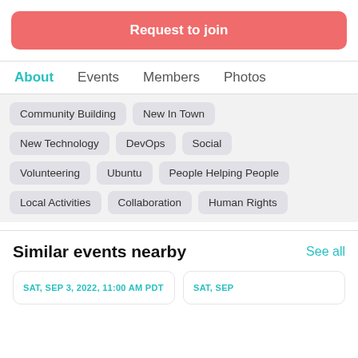Request to join
About
Events
Members
Photos
Community Building
New In Town
New Technology
DevOps
Social
Volunteering
Ubuntu
People Helping People
Local Activities
Collaboration
Human Rights
Similar events nearby
See all
SAT, SEP 3, 2022, 11:00 AM PDT
SAT, SEP